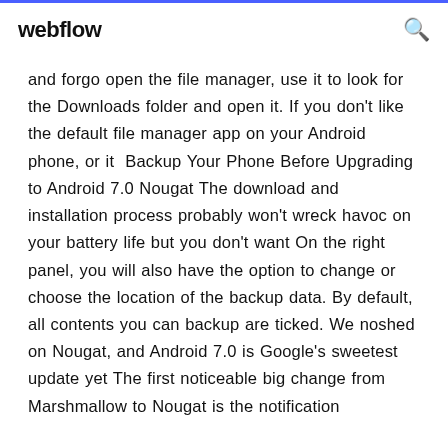webflow
and forgo open the file manager, use it to look for the Downloads folder and open it. If you don't like the default file manager app on your Android phone, or it  Backup Your Phone Before Upgrading to Android 7.0 Nougat The download and installation process probably won't wreck havoc on your battery life but you don't want On the right panel, you will also have the option to change or choose the location of the backup data. By default, all contents you can backup are ticked. We noshed on Nougat, and Android 7.0 is Google's sweetest update yet The first noticeable big change from Marshmallow to Nougat is the notification